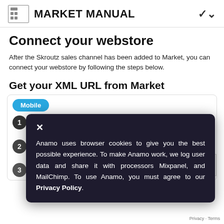MARKET MANUAL
Connect your webstore
After the Skroutz sales channel has been added to Market, you can connect your webstore by following the steps below.
Get your XML URL from Market
Mobile
1 Go to a... to Mar...
2 Under... update...
3 Tap Edit appearance
Anamo uses browser cookies to give you the best possible experience. To make Anamo work, we log user data and share it with processors Mixpanel, and MailChimp. To use Anamo, you must agree to our Privacy Policy.